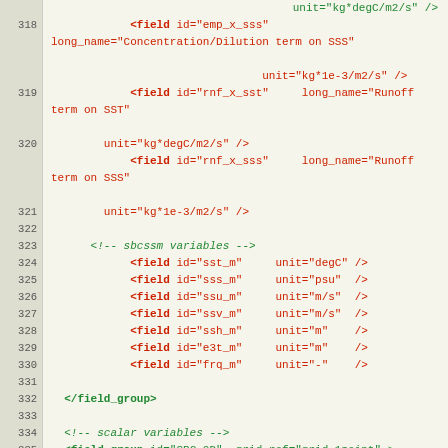XML field group code snippet showing field definitions for ocean surface variables, lines 318-339
318: <field id="emp_x_sss" long_name="Concentration/Dilution term on SSS" unit="kg*1e-3/m2/s" />
319: <field id="rnf_x_sst" long_name="Runoff term on SST" unit="kg*degC/m2/s" />
320: <field id="rnf_x_sss" long_name="Runoff term on SSS" unit="kg*1e-3/m2/s" />
321: (empty)
322: <!-- sbcssm variables -->
323: <field id="sst_m" unit="degC" />
324: <field id="sss_m" unit="psu" />
325: <field id="ssu_m" unit="m/s" />
326: <field id="ssv_m" unit="m/s" />
327: <field id="ssh_m" unit="m" />
328: <field id="e3t_m" unit="m" />
329: <field id="frq_m" unit="-" />
330: (empty)
331: </field_group>
332: (empty)
333: <!-- scalar variables -->
334: <field_group id="SBC_0D" grid_ref="grid_1point" >
335: </field_group>
336: (empty)
337: </field_group> <!-- SBC -->
338: (empty)
339: <!-- U grid -->